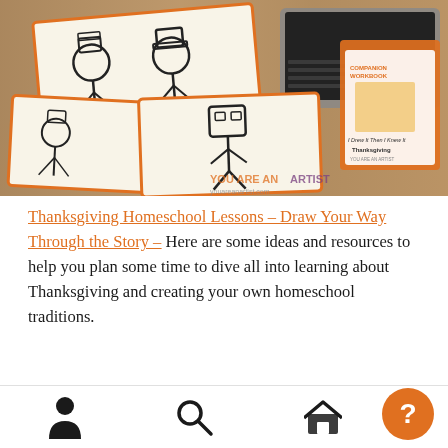[Figure (photo): Photograph of hand-drawn Thanksgiving-themed sketches (pilgrim and Charlie Brown characters) on paper cards arranged on a wooden table, with a laptop and a book titled 'I Drew It Then I Knew It Thanksgiving' visible in the background. The You Are An Artist logo/watermark appears at lower right.]
Thanksgiving Homeschool Lessons – Draw Your Way Through the Story – Here are some ideas and resources to help you plan some time to dive all into learning about Thanksgiving and creating your own homeschool traditions.
Charlie Brown Thanksgiving Homeschool Art Activities –